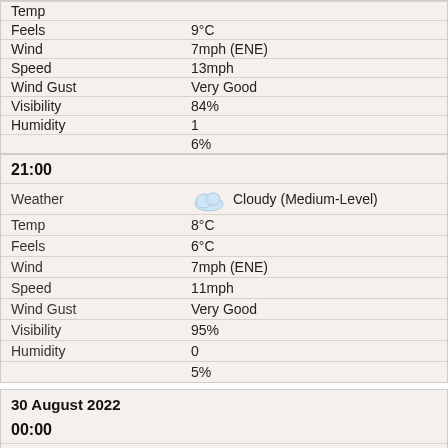| Label | Value |
| --- | --- |
| Temp |  |
| Feels | 9°C |
| Wind | 7mph (ENE) |
| Speed | 13mph |
| Wind Gust | Very Good |
| Visibility | 84% |
| Humidity | 1 |
|  | 6% |
21:00
| Label | Value |
| --- | --- |
| Weather | Cloudy (Medium-Level) |
| Temp | 8°C |
| Feels | 6°C |
| Wind | 7mph (ENE) |
| Speed | 11mph |
| Wind Gust | Very Good |
| Visibility | 95% |
| Humidity | 0 |
|  | 5% |
30 August 2022
00:00
| Label | Value |
| --- | --- |
| Weather | Cloudy (Medium-Level) |
| Temp | 6°C |
| Feels | 5°C |
| Wind | 7mph (NE) |